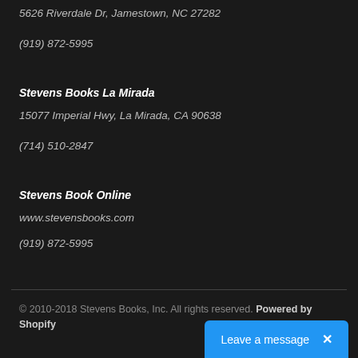5626 Riverdale Dr, Jamestown, NC 27282
(919) 872-5995
Stevens Books La Mirada
15077 Imperial Hwy, La Mirada, CA 90638
(714) 510-2847
Stevens Book Online
www.stevensbooks.com
(919) 872-5995
© 2010-2018 Stevens Books, Inc. All rights reserved. Powered by Shopify